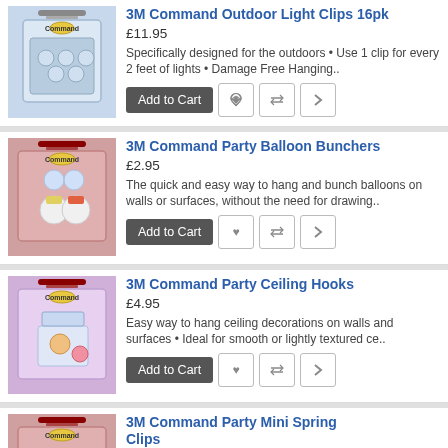3M Command Outdoor Light Clips 16pk
£11.95
Specifically designed for the outdoors • Use 1 clip for every 2 feet of lights • Damage Free Hanging..
3M Command Party Balloon Bunchers
£2.95
The quick and easy way to hang and bunch balloons on walls or surfaces, without the need for drawing..
3M Command Party Ceiling Hooks
£4.95
Easy way to hang ceiling decorations on walls and surfaces • Ideal for smooth or lightly textured ce..
3M Command Party Mini Spring Clips
£4.45
The quick and easy way to hang decorations, photos and cards, without the need for drawing pins, tac..